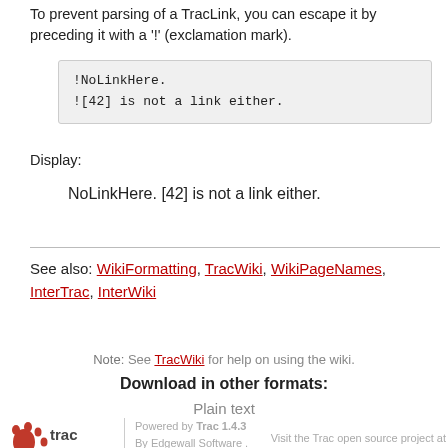To prevent parsing of a TracLink, you can escape it by preceding it with a '!' (exclamation mark).
!NoLinkHere.
![42] is not a link either.
Display:
NoLinkHere. [42] is not a link either.
See also: WikiFormatting, TracWiki, WikiPageNames, InterTrac, InterWiki
Note: See TracWiki for help on using the wiki.
Download in other formats:
Plain text
Powered by Trac 1.4.3 By Edgewall Software. Visit the Trac open source project at http://trac.edgewall.org/